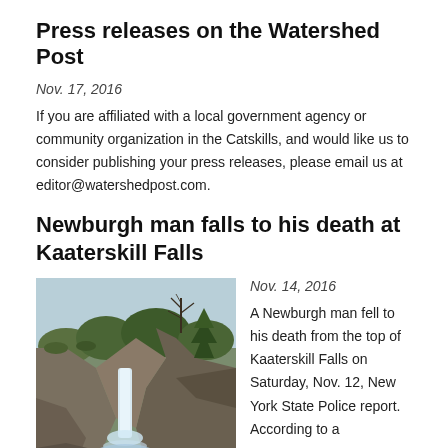Press releases on the Watershed Post
Nov. 17, 2016
If you are affiliated with a local government agency or community organization in the Catskills, and would like us to consider publishing your press releases, please email us at editor@watershedpost.com.
Newburgh man falls to his death at Kaaterskill Falls
[Figure (photo): Photograph of Kaaterskill Falls, a tall waterfall flowing down rocky cliffs surrounded by trees with bare branches and some evergreens.]
Nov. 14, 2016
A Newburgh man fell to his death from the top of Kaaterskill Falls on Saturday, Nov. 12, New York State Police report. According to a